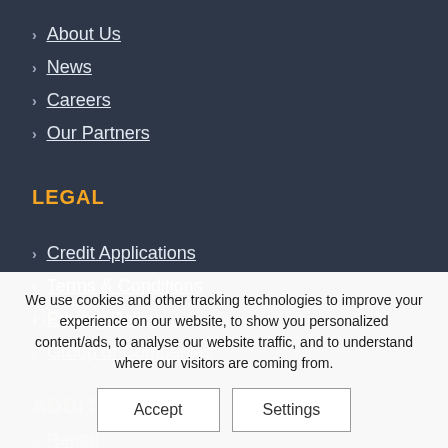About Us
News
Careers
Our Partners
LEGAL
Credit Applications
Terms & Conditions
Privacy Policy
Group of Companies
ADDITIONAL
Rental
Used/Trade
HELP
We use cookies and other tracking technologies to improve your experience on our website, to show you personalized content/ads, to analyse our website traffic, and to understand where our visitors are coming from.
Accept
Settings